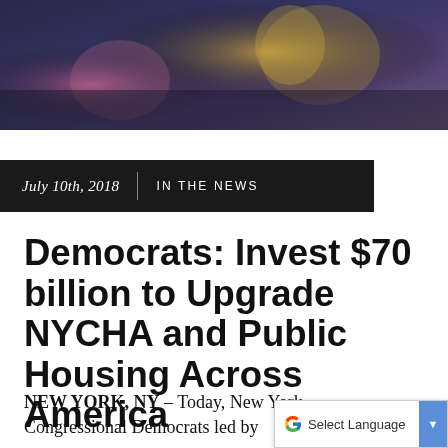[Figure (photo): Blurred photograph of a decorative flag or banner with purple/navy background and gold/yellow markings, pink/rose accents visible]
July 10th, 2018  |  IN THE NEWS
Democrats: Invest $70 billion to Upgrade NYCHA and Public Housing Across America
NEW YORK, NY – Today, New York Congressional Democrats led by